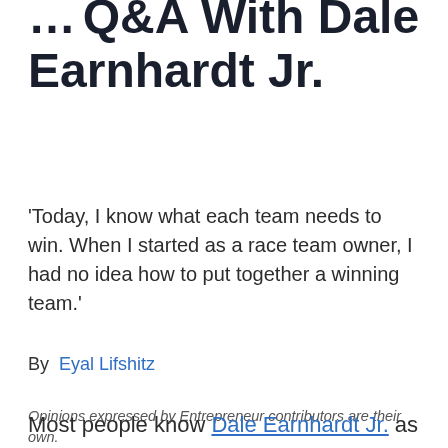...Q&A With Dale Earnhardt Jr.
'Today, I know what each team needs to win. When I started as a race team owner, I had no idea how to put together a winning team.'
By  Eyal Lifshitz
Opinions expressed by Entrepreneur contributors are their own.
Most people know Dale Earnhardt Jr. as an